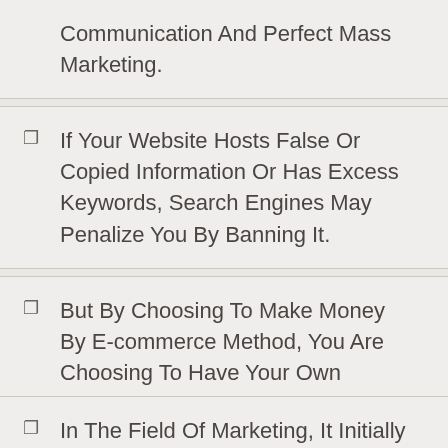Communication And Perfect Mass Marketing.
If Your Website Hosts False Or Copied Information Or Has Excess Keywords, Search Engines May Penalize You By Banning It.
But By Choosing To Make Money By E-commerce Method, You Are Choosing To Have Your Own Online Store And Your Own Customers.
In The Field Of Marketing, It Initially Gained Recognition As A Means To Reach Many Customers Through A